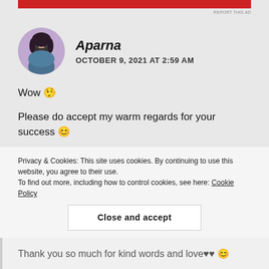[Figure (other): Red horizontal bar at top of page]
REPORT THIS AD
[Figure (photo): Circular avatar photo of Aparna, a young woman with glasses]
Aparna
OCTOBER 9, 2021 AT 2:59 AM
Wow 🤩
Please do accept my warm regards for your success 😊
Keep blogging 🤩
★ Liked by 1 person
REPLY
Privacy & Cookies: This site uses cookies. By continuing to use this website, you agree to their use.
To find out more, including how to control cookies, see here: Cookie Policy
Close and accept
Thank you so much for kind words and love❤️❤️😊